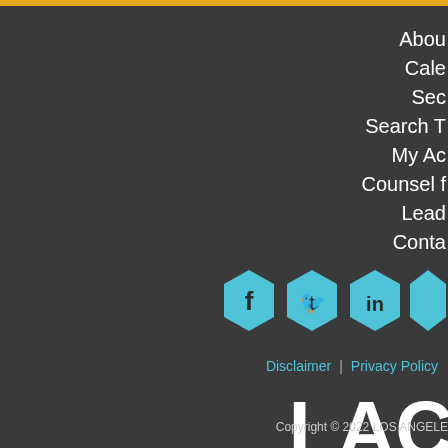About
Calendar
Sec…
Search T…
My Ac…
Counsel f…
Lead…
Conta…
[Figure (other): Social media icons: Facebook, Twitter, LinkedIn, and one more in cyan hexagon shapes]
Disclaimer  |  Privacy Policy
[Figure (logo): LAC logo in large white bold letters]
Copyright © 2022 LOS ANGELE…